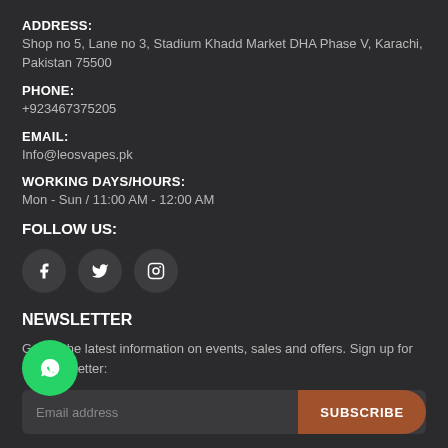ADDRESS:
Shop no 5, Lane no 3, Stadium Khadd Market DHA Phase V, Karachi, Pakistan 75500
PHONE:
+923467375205
EMAIL:
Info@leosvapes.pk
WORKING DAYS/HOURS:
Mon - Sun / 11:00 AM - 12:00 AM
FOLLOW US:
[Figure (illustration): Social media icons: Facebook, Twitter/X, Instagram in dark circles]
NEWSLETTER
Get all the latest information on events, sales and offers. Sign up for our newsletter:
Email address | SUBSCRIBE